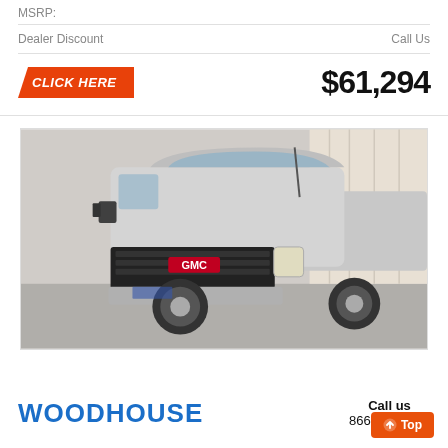MSRP:
| Dealer Discount | Call Us |
[Figure (infographic): Orange angled 'CLICK HERE' button badge on the left, and bold price '$61,294' on the right]
[Figure (photo): Silver GMC Sierra 2500HD heavy-duty pickup truck photographed from a 3/4 front angle inside a dealership showroom with white walls and curtains]
WOODHOUSE
Call us
866-413-3802
Top